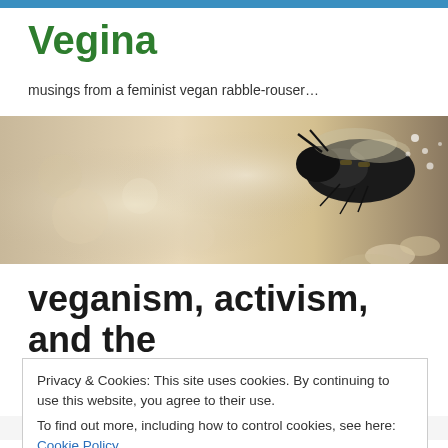Vegina
musings from a feminist vegan rabble-rouser…
[Figure (photo): Sepia-toned close-up photograph of a bee on a flower, used as website banner image]
veganism, activism, and the
Privacy & Cookies: This site uses cookies. By continuing to use this website, you agree to their use.
To find out more, including how to control cookies, see here: Cookie Policy
Close and accept